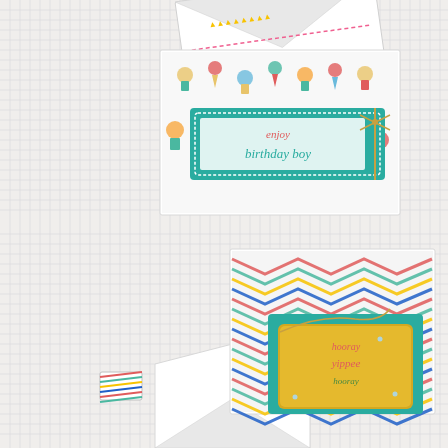[Figure (photo): Top photo showing a handmade birthday card with ice cream and cupcake patterned paper, featuring a teal sentiment panel reading 'enjoy birthday boy' with gold twine bow, placed on a white envelope on a grid/graph paper background.]
[Figure (photo): Bottom photo showing a handmade card with colorful chevron/herringbone striped pattern paper, featuring a gold glitter tag with teal layer reading 'hooray yippee' with rhinestones and gold twine, with a small striped rectangle embellishment to the left, placed on a white envelope on a grid/graph paper background.]